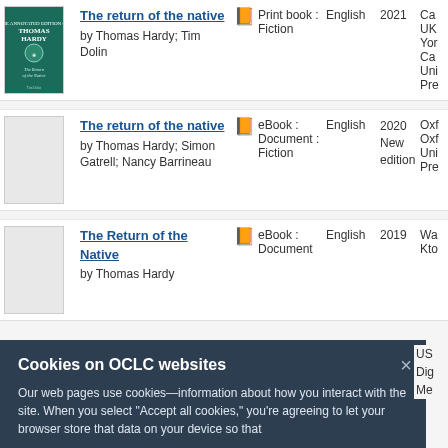The return of the native by Thomas Hardy; Tim Dolin | Print book : Fiction | English | 2021 | Cambridge, UK : York... Cambridge University Press
The return of the native by Thomas Hardy; Simon Gatrell; Nancy Barrineau | eBook : Document : Fiction | English | 2020 New edition | Oxford University Press
The Return of the Native by Thomas Hardy | eBook : Document | English | 2019 | Wa... Kto...
Cookies on OCLC websites
Our web pages use cookies—information about how you interact with the site. When you select "Accept all cookies," you're agreeing to let your browser store that data on your device so that